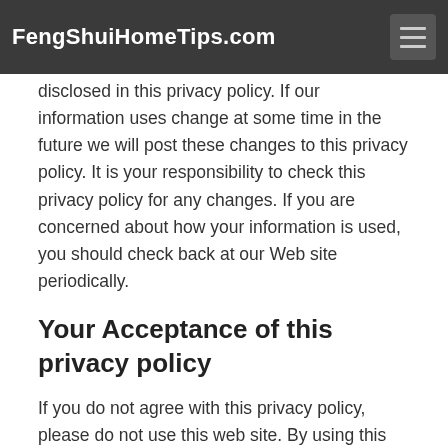FengShuiHomeTips.com
disclosed in this privacy policy. If our information uses change at some time in the future we will post these changes to this privacy policy. It is your responsibility to check this privacy policy for any changes. If you are concerned about how your information is used, you should check back at our Web site periodically.
Your Acceptance of this privacy policy
If you do not agree with this privacy policy, please do not use this web site. By using this web site you signify your